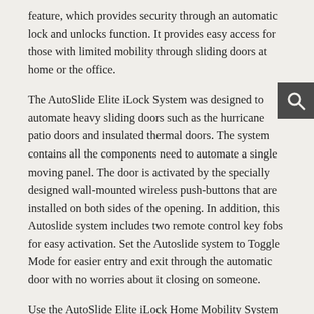feature, which provides security through an automatic lock and unlocks function. It provides easy access for those with limited mobility through sliding doors at home or the office.
The AutoSlide Elite iLock System was designed to automate heavy sliding doors such as the hurricane patio doors and insulated thermal doors. The system contains all the components need to automate a single moving panel. The door is activated by the specially designed wall-mounted wireless push-buttons that are installed on both sides of the opening. In addition, this Autoslide system includes two remote control key fobs for easy activation. Set the Autoslide system to Toggle Mode for easier entry and exit through the automatic door with no worries about it closing on someone.
Use the AutoSlide Elite iLock Home Mobility System in the Red Mode (Secured) for safety and to secure your home. While in this mode, your outside sensors are deactivated, but you can still use your remote control key fobs to access your home securely from the outside.